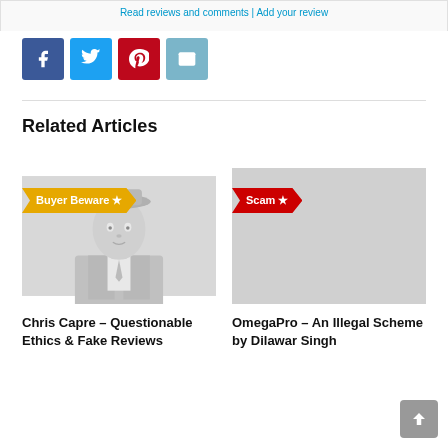Read reviews and comments | Add your review
[Figure (infographic): Social share buttons: Facebook (blue), Twitter (light blue), Pinterest (red), Email (teal)]
Related Articles
[Figure (photo): Article card: Chris Capre - Questionable Ethics & Fake Reviews. Image shows a stylized grayscale illustration of a man in a suit with a Buyer Beware star badge.]
Chris Capre – Questionable Ethics & Fake Reviews
[Figure (infographic): Article card: OmegaPro - An Illegal Scheme by Dilawar Singh. Red Scam star badge visible, image area mostly cropped/off-page.]
OmegaPro – An Illegal Scheme by Dilawar Singh